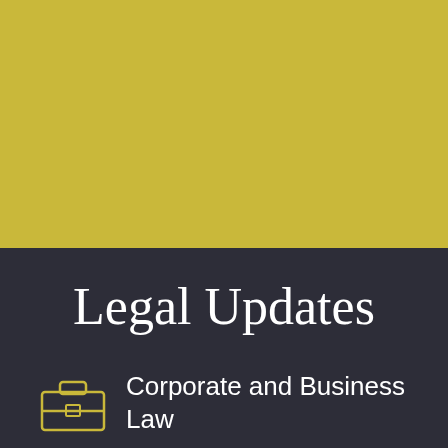[Figure (illustration): Gold/yellow colored rectangular background filling the top half of the page]
Legal Updates
[Figure (illustration): Briefcase outline icon in gold color]
Corporate and Business Law